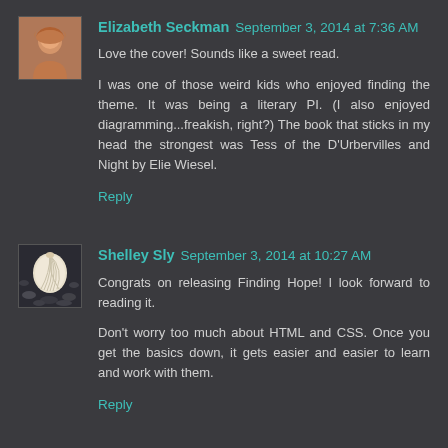[Figure (photo): Avatar photo of Elizabeth Seckman, a woman with reddish-blonde hair]
Elizabeth Seckman September 3, 2014 at 7:36 AM
Love the cover! Sounds like a sweet read.

I was one of those weird kids who enjoyed finding the theme. It was being a literary PI. (I also enjoyed diagramming...freakish, right?) The book that sticks in my head the strongest was Tess of the D'Urbervilles and Night by Elie Wiesel.
Reply
[Figure (photo): Avatar photo of Shelley Sly, showing a seashell on dark sand/gravel]
Shelley Sly September 3, 2014 at 10:27 AM
Congrats on releasing Finding Hope! I look forward to reading it.

Don't worry too much about HTML and CSS. Once you get the basics down, it gets easier and easier to learn and work with them.
Reply